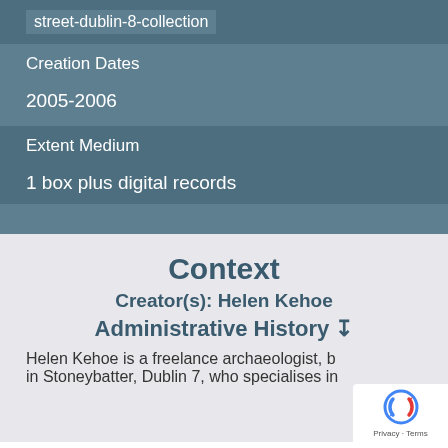street-dublin-8-collection
Creation Dates
2005-2006
Extent Medium
1 box plus digital records
Context
Creator(s): Helen Kehoe
Administrative History ↧
Helen Kehoe is a freelance archaeologist, b… in Stoneybatter, Dublin 7, who specialises in…